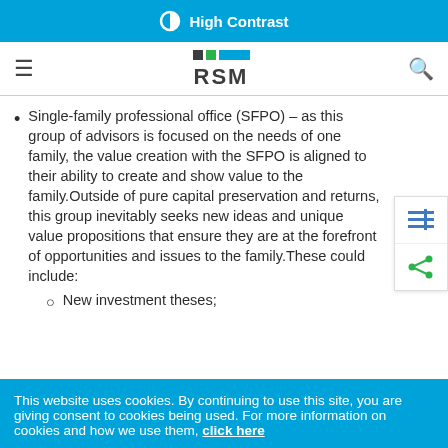High Contrast
RSM logo navigation bar
Single-family professional office (SFPO) – as this group of advisors is focused on the needs of one family, the value creation with the SFPO is aligned to their ability to create and show value to the family.Outside of pure capital preservation and returns, this group inevitably seeks new ideas and unique value propositions that ensure they are at the forefront of opportunities and issues to the family.These could include:
New investment theses;
This website uses cookies. By continuing to use this site, you are giving consent to cookies being used. For more information on cookies and how we use them, click here